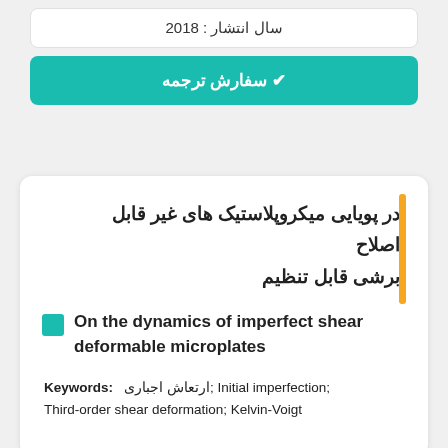سال انتشار : 2018
✔ سفارش ترجمه
در پویایی میکروپلاستیک های غیر قابل اصلاح برشی قابل تنظیم
On the dynamics of imperfect shear deformable microplates
Keywords: ارتعاش اجباری; Initial imperfection; Third-order shear deformation; Kelvin-Voigt